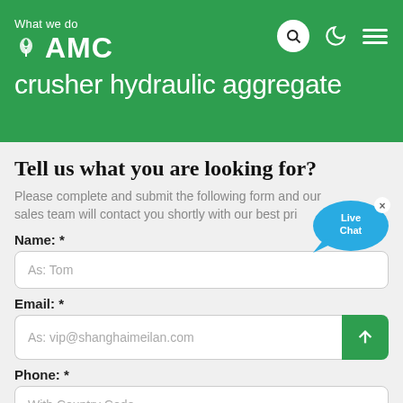AMC — What we do crusher hydraulic aggregate
Tell us what you are looking for?
Please complete and submit the following form and our sales team will contact you shortly with our best pri…
Name: *
As: Tom
Email: *
As: vip@shanghaimeilan.com
Phone: *
With Country Code
The Location of the Project: